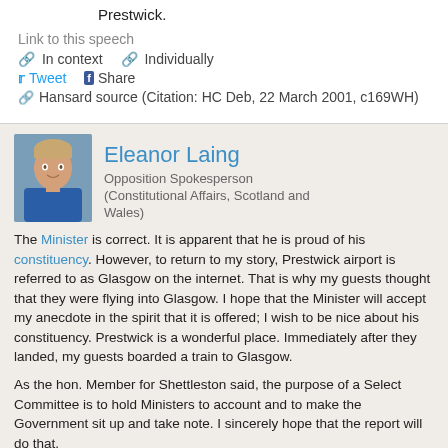Prestwick.
Link to this speech
In context   Individually
Tweet   Share
Hansard source (Citation: HC Deb, 22 March 2001, c169WH)
Eleanor Laing
Opposition Spokesperson (Constitutional Affairs, Scotland and Wales)
The Minister is correct. It is apparent that he is proud of his constituency. However, to return to my story, Prestwick airport is referred to as Glasgow on the internet. That is why my guests thought that they were flying into Glasgow. I hope that the Minister will accept my anecdote in the spirit that it is offered; I wish to be nice about his constituency. Prestwick is a wonderful place. Immediately after they landed, my guests boarded a train to Glasgow.
As the hon. Member for Shettleston said, the purpose of a Select Committee is to hold Ministers to account and to make the Government sit up and take note. I sincerely hope that the report will do that.